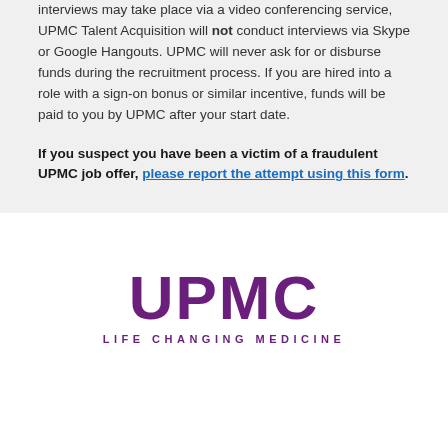interviews may take place via a video conferencing service, UPMC Talent Acquisition will not conduct interviews via Skype or Google Hangouts. UPMC will never ask for or disburse funds during the recruitment process. If you are hired into a role with a sign-on bonus or similar incentive, funds will be paid to you by UPMC after your start date.
If you suspect you have been a victim of a fraudulent UPMC job offer, please report the attempt using this form.
[Figure (logo): UPMC logo with purple text reading 'UPMC' in large bold letters and tagline 'LIFE CHANGING MEDICINE' below in smaller spaced letters, all in purple.]